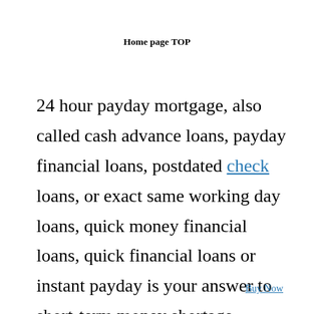Home page TOP
24 hour payday mortgage, also called cash advance loans, payday financial loans, postdated check loans, or exact same working day loans, quick money financial loans, quick financial loans or instant payday is your answer to short-term money shortage.
Buy Now